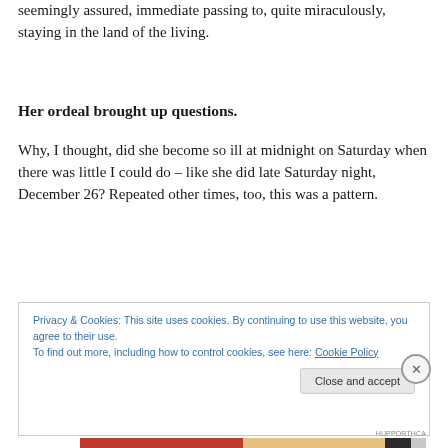seemingly assured, immediate passing to, quite miraculously, staying in the land of the living.
Her ordeal brought up questions.
Why, I thought, did she become so ill at midnight on Saturday when there was little I could do – like she did late Saturday night, December 26? Repeated other times, too, this was a pattern.
Privacy & Cookies: This site uses cookies. By continuing to use this website, you agree to their use.
To find out more, including how to control cookies, see here: Cookie Policy
Close and accept